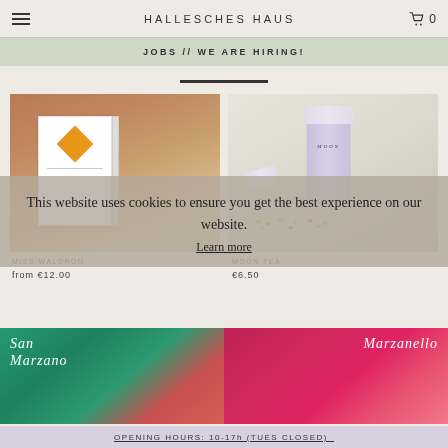HALLESCHES HAUS
JOBS // WE ARE HIRING!
[Figure (photo): Product photo of a white book/card with orange diamond label against brick wall background]
[Figure (photo): Product photo of white MOON branded cylindrical container with herbs/flowers scattered nearby]
This website uses cookies to ensure you get the best experience on our website.
Learn more
from €12.00
€6.50
[Figure (photo): San Marzano product can with green/teal label]
Ok!
[Figure (photo): Marzanello product can with pink/magenta label]
OPENING HOURS: 10-17h (TUES CLOSED)_